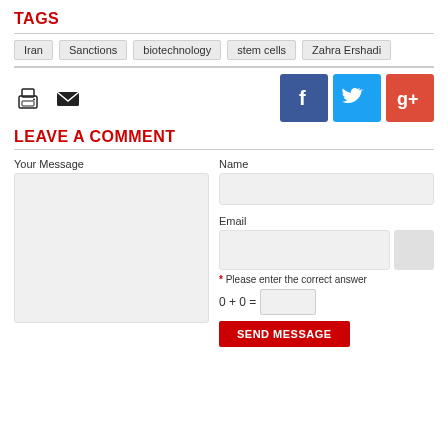TAGS
Iran
Sanctions
biotechnology
stem cells
Zahra Ershadi
[Figure (infographic): Print icon, mail icon, Facebook button, Twitter button, Google+ button]
LEAVE A COMMENT
Your Message
Name
Email
* Please enter the correct answer
SEND MESSAGE